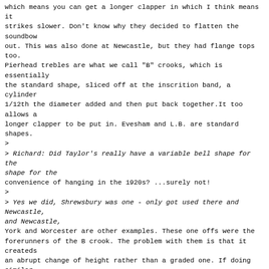which means you can get a longer clapper in which I think means it
strikes slower. Don't know why they decided to flatten the soundbow
out. This was also done at Newcastle, but they had flange tops too.
Pierhead trebles are what we call "B" crooks, which is essentially
the standard shape, sliced off at the inscrition band, a cylinder
1/12th the diameter added and then put back together.It too allows a
longer clapper to be put in. Evesham and L.B. are standard shapes.
>
> Richard: Did Taylor's really have a variable bell shape for the
convenience of hanging in the 1920s? ...surely not!
>
> Yes we did, Shrewsbury was one - only got used there and Newcastle,
York and Worcester are other examples. These one offs were the
forerunners of the B crook. The problem with them is that it createds
an abrupt change of height rather than a graded one. If doing similar
I might want to do a graded increase in relative heights.
>